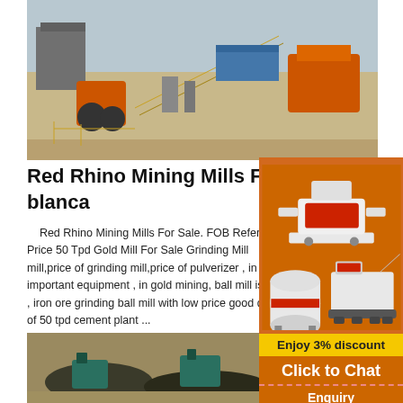[Figure (photo): Aerial/ground view of a large mining/crushing plant with orange and yellow machinery, conveyor belts on a flat industrial site]
Red Rhino Mining Mills For Sale - land blanca
Red Rhino Mining Mills For Sale. FOB Reference Price 50 Tpd Gold Mill For Sale Grinding Mill mill,price of grinding mill,price of pulverizer , in gold important equipment , in gold mining, ball mill is a , iron ore grinding ball mill with low price good qu of 50 tpd cement plant ...
[Figure (photo): Aerial view of a mining processing plant with teal/green machinery and dark material piles on sandy ground]
[Figure (photo): Advertisement sidebar showing mining equipment machinery images - crushers and mills]
Enjoy 3% discount
Click to Chat
Enquiry